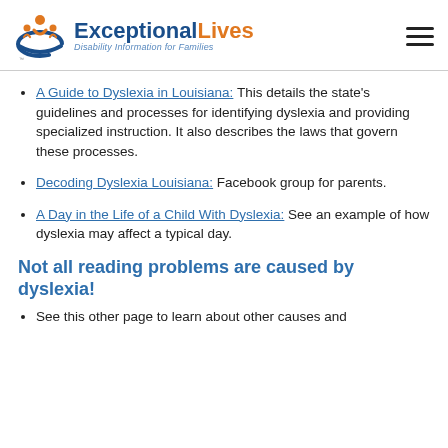ExceptionalLives — Disability Information for Families
A Guide to Dyslexia in Louisiana: This details the state's guidelines and processes for identifying dyslexia and providing specialized instruction. It also describes the laws that govern these processes.
Decoding Dyslexia Louisiana: Facebook group for parents.
A Day in the Life of a Child With Dyslexia: See an example of how dyslexia may affect a typical day.
Not all reading problems are caused by dyslexia!
See this other page to learn about other causes and